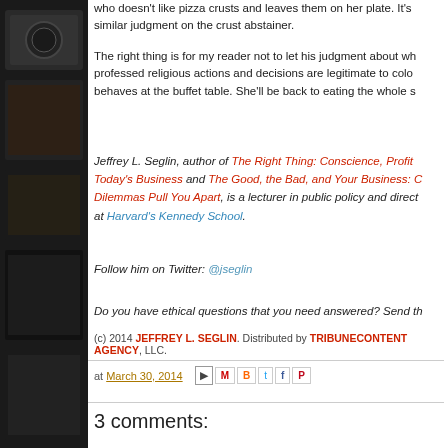[Figure (photo): Dark sidebar with camera/equipment images]
who doesn't like pizza crusts and leaves them on her plate. It's similar judgment on the crust abstainer.
The right thing is for my reader not to let his judgment about wh professed religious actions and decisions are legitimate to colo behaves at the buffet table. She'll be back to eating the whole s
Jeffrey L. Seglin, author of The Right Thing: Conscience, Profit Today's Business and The Good, the Bad, and Your Business: C Dilemmas Pull You Apart, is a lecturer in public policy and direct at Harvard's Kennedy School.
Follow him on Twitter: @jseglin
Do you have ethical questions that you need answered? Send th
(c) 2014 JEFFREY L. SEGLIN. Distributed by TRIBUNECONTENT AGENCY, LLC.
at March 30, 2014
3 comments: